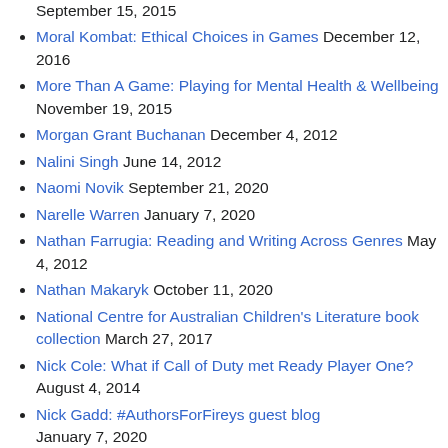September 15, 2015
Moral Kombat: Ethical Choices in Games December 12, 2016
More Than A Game: Playing for Mental Health & Wellbeing November 19, 2015
Morgan Grant Buchanan December 4, 2012
Nalini Singh June 14, 2012
Naomi Novik September 21, 2020
Narelle Warren January 7, 2020
Nathan Farrugia: Reading and Writing Across Genres May 4, 2012
Nathan Makaryk October 11, 2020
National Centre for Australian Children's Literature book collection March 27, 2017
Nick Cole: What if Call of Duty met Ready Player One? August 4, 2014
Nick Gadd: #AuthorsForFireys guest blog January 7, 2020
Nicole Murphy August 4, 2013
Nicole Murphy: Why we need women writers December 14, 2012
Octavia Cade September 7, 2020